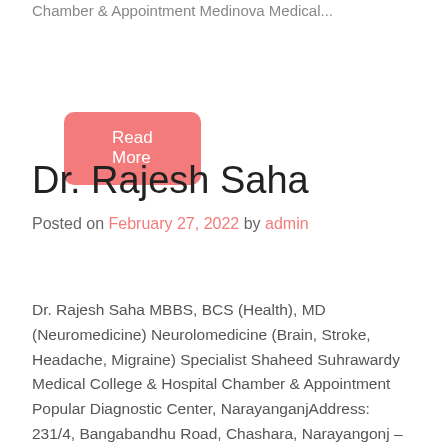Chamber & Appointment Medinova Medical...
Read More
Dr. Rajesh Saha
Posted on February 27, 2022 by admin
Dr. Rajesh Saha MBBS, BCS (Health), MD (Neuromedicine) Neurolomedicine (Brain, Stroke, Headache, Migraine) Specialist Shaheed Suhrawardy Medical College & Hospital Chamber & Appointment Popular Diagnostic Center, NarayanganjAddress: 231/4, Bangabandhu Road, Chashara, Narayangonj – 1400Visiting Hour: 2pm to 8pm (Sun, Tue & Fri) & 11am to 5pm (Fri)Contact Number: +8809666787804Call Now